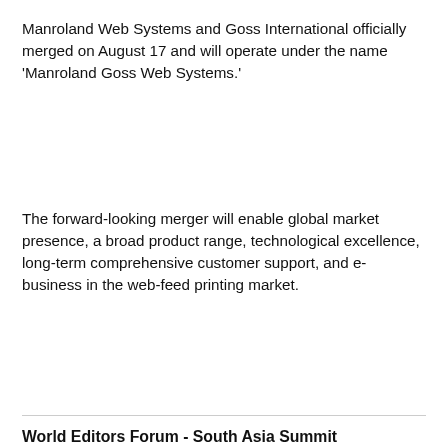Manroland Web Systems and Goss International officially merged on August 17 and will operate under the name 'Manroland Goss Web Systems.'
The forward-looking merger will enable global market presence, a broad product range, technological excellence, long-term comprehensive customer support, and e-business in the web-feed printing market.
World Editors Forum - South Asia Summit Conference Programme
We use cookies on this site to enhance your user experience By clicking any link on this page you are giving your consent for us to set cookies.
business. For newspapers, digital is no longer a threat and the challenges are within.